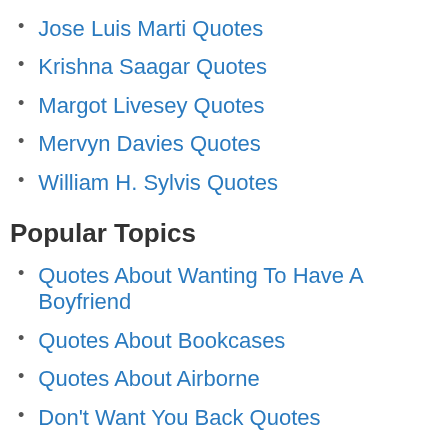Jose Luis Marti Quotes
Krishna Saagar Quotes
Margot Livesey Quotes
Mervyn Davies Quotes
William H. Sylvis Quotes
Popular Topics
Quotes About Wanting To Have A Boyfriend
Quotes About Bookcases
Quotes About Airborne
Don't Want You Back Quotes
Famous Revenge Quotes
Friends Don't Change Quotes
Henri Beyle Stendhal Quotes